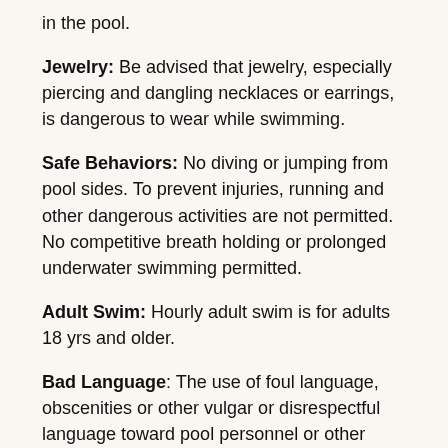in the pool.
Jewelry: Be advised that jewelry, especially piercing and dangling necklaces or earrings, is dangerous to wear while swimming.
Safe Behaviors: No diving or jumping from pool sides. To prevent injuries, running and other dangerous activities are not permitted. No competitive breath holding or prolonged underwater swimming permitted.
Adult Swim: Hourly adult swim is for adults 18 yrs and older.
Bad Language: The use of foul language, obscenities or other vulgar or disrespectful language toward pool personnel or other patrons will not be permitted, and is cause for disciplinary action.
Discipline: Any person that does not obey the facility rules, or fails to follow directions from the lifeguards will